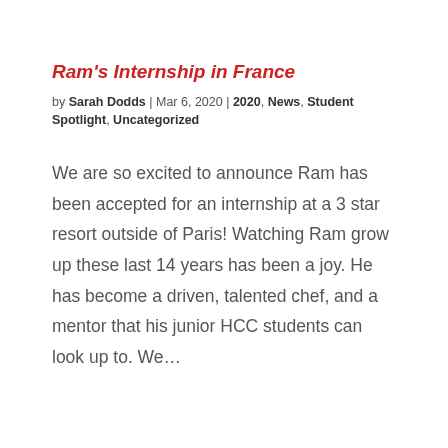Ram's Internship in France
by Sarah Dodds | Mar 6, 2020 | 2020, News, Student Spotlight, Uncategorized
We are so excited to announce Ram has been accepted for an internship at a 3 star resort outside of Paris! Watching Ram grow up these last 14 years has been a joy. He has become a driven, talented chef, and a mentor that his junior HCC students can look up to. We…